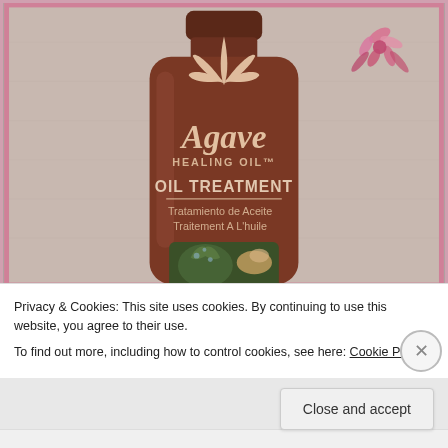[Figure (photo): Close-up photo of a dark brown bottle of Agave Healing Oil Oil Treatment product, with text on the label including 'Agave HEALING OIL™', 'OIL TREATMENT', 'Tratamiento de Aceite', 'Traitement A L'huile', and a decorative plant/agave logo. A pink floral graphic appears in the upper right corner. A small product image strip appears at the bottom of the bottle.]
Privacy & Cookies: This site uses cookies. By continuing to use this website, you agree to their use.
To find out more, including how to control cookies, see here: Cookie Policy